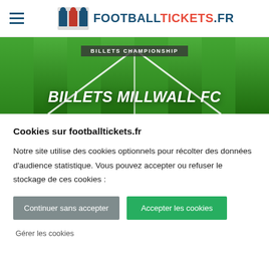FOOTBALLTICKETS.FR
[Figure (screenshot): Football pitch hero image with green grass and white field lines]
BILLETS CHAMPIONSHIP
BILLETS MILLWALL FC
Cookies sur footballtickets.fr
Notre site utilise des cookies optionnels pour récolter des données d'audience statistique. Vous pouvez accepter ou refuser le stockage de ces cookies :
Continuer sans accepter
Accepter les cookies
Gérer les cookies